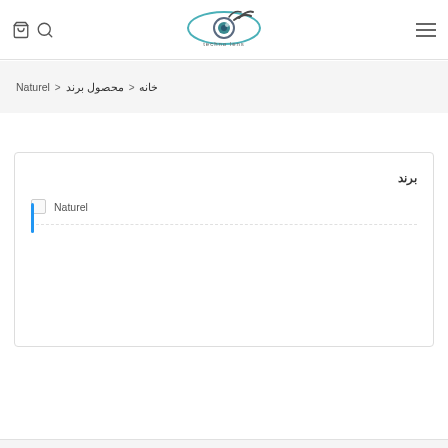Techno Lens — header with logo, cart, search, and menu icons
خانه < محصول برند < Naturel
برند
Naturel